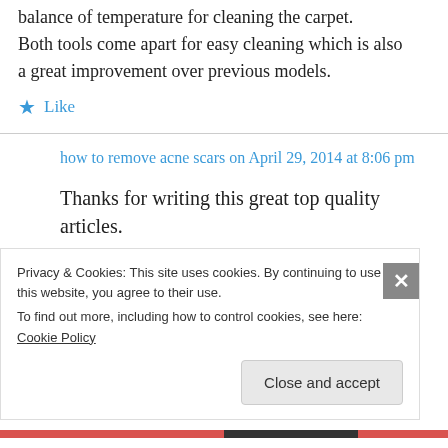balance of temperature for cleaning the carpet. Both tools come apart for easy cleaning which is also a great improvement over previous models.
★ Like
how to remove acne scars on April 29, 2014 at 8:06 pm
Thanks for writing this great top quality articles.
Privacy & Cookies: This site uses cookies. By continuing to use this website, you agree to their use.
To find out more, including how to control cookies, see here: Cookie Policy
Close and accept